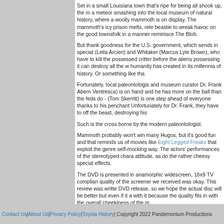Set in a small Louisiana town that's ripe for being all shook up, the m a meteor smashing into the local museum of natural history, where a woolly mammoth is on display. The mammoth's icy prison melts, rele beastie to wreak havoc on the good townsfolk in a manner reminisce The Blob.
But thank goodness for the U.S. government, which sends in special (Leila Arcieri) and Whitaker (Marcus Lyle Brown), who have to kill the possessed critter before the aliens possessing it can destroy all the w humanity has created in its millennia of history. Or something like tha
Fortunately, local paleontologis and museum curator Dr. Frank Abern Ventresca) is on hand and he has more on the ball than the feds do - (Tom Skerritt) is one step ahead of everyone thanks to his penchant Unfortunately for Dr. Frank, they have to off the beast, destroying his
Such is the cross borne by the modern paleontologist.
Mammoth probably won't win many Hugos, but it's good fun and that reminds us of movies like Eight Legged Freaks that exploit the genre self-mocking way. The actors' performances of the stereotyped chara attitude, as do the rather cheesy special effects.
The DVD is presented in anamorphic widescreen, 16x9 TV complian quality of the screener we received was okay. This review was writte DVD release, so we hope the actual disc will be better but even if it a with it because the quality fits in with the overall cheekiness of the m
Audio is Dolby Digital 5.1 surround and it's fine. Special features inclu interviews and some behind the scenes footage, though these weren preview on the screener.
Mammoth, from Union Station Media/Starz Home Entertainment Starring Vincent Ventresca, Summer Glau, Tom Skerritt, Leila Arcieri Written by Sean Keller, Brooke Durham and Tim Cox, directed by Tim
Jim Bray's columns are available through the TechnoFile Syndicate.
We welcome your comments!
Contact Us | About Us | Privacy Policy | Toyota History| Copyright 2022 Pandemonium Productions